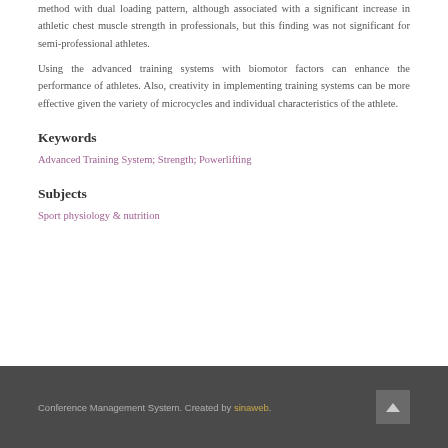method with dual loading pattern, although associated with a significant increase in athletic chest muscle strength in professionals, but this finding was not significant for semi-professional athletes.
Using the advanced training systems with biomotor factors can enhance the performance of athletes. Also, creativity in implementing training systems can be more effective given the variety of microcycles and individual characteristics of the athlete.
Keywords
Advanced Training System; Strength; Powerlifting
Subjects
Sport physiology & nutrition
Conference Management System. Created by sinaweb.